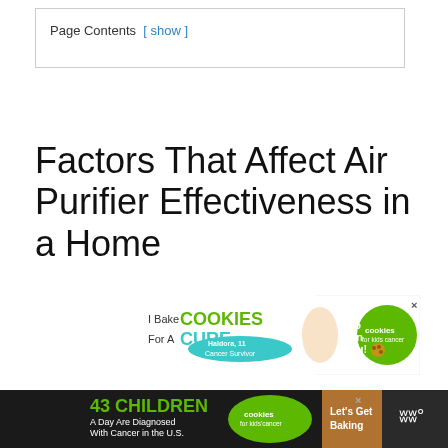Page Contents [ show ]
Factors That Affect Air Purifier Effectiveness in a Home
[Figure (other): Advertisement banner: I Bake COOKIES For A CURE. Haldora, 11 Cancer Survivor. So can you! cookies for kids cancer. With close (X) button.]
[Figure (other): Advertisement banner: 43 CHILDREN A Day Are Diagnosed With Cancer in the U.S. cookies for kids cancer. Let's Get Baking. With close (X) button and weather widget icon.]